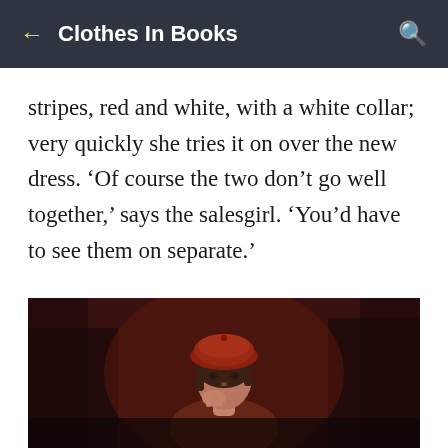Clothes In Books
stripes, red and white, with a white collar; very quickly she tries it on over the new dress. ‘Of course the two don’t go well together,’ says the salesgirl. ‘You’d have to see them on separate.’
[Figure (photo): A woman wearing a dark red beret hat, with short brown hair, posing with her hand near her chin against a dark reddish-brown background.]